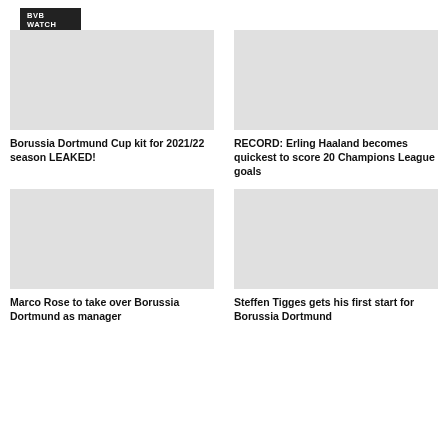BVB Watch Exclusive
Borussia Dortmund Cup kit for 2021/22 season LEAKED!
RECORD: Erling Haaland becomes quickest to score 20 Champions League goals
Marco Rose to take over Borussia Dortmund as manager
Steffen Tigges gets his first start for Borussia Dortmund